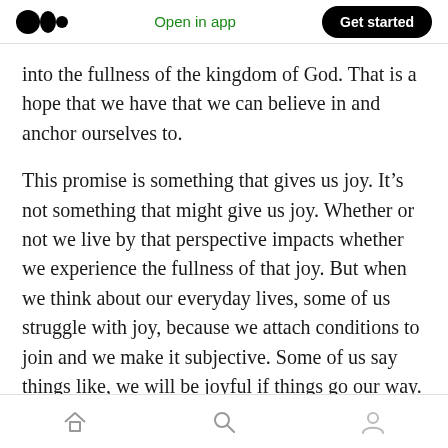Open in app | Get started
into the fullness of the kingdom of God. That is a hope that we have that we can believe in and anchor ourselves to.
This promise is something that gives us joy. It's not something that might give us joy. Whether or not we live by that perspective impacts whether we experience the fullness of that joy. But when we think about our everyday lives, some of us struggle with joy, because we attach conditions to join and we make it subjective. Some of us say things like, we will be joyful if things go our way.
Home | Search | Profile